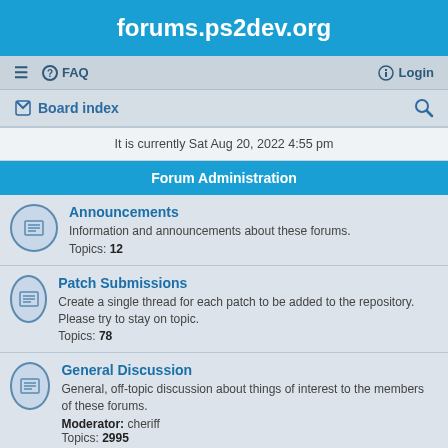forums.ps2dev.org
≡   FAQ   Login
Board index   🔍
It is currently Sat Aug 20, 2022 4:55 pm
Forum Administration
Announcements
Information and announcements about these forums.
Topics: 12
Patch Submissions
Create a single thread for each patch to be added to the repository. Please try to stay on topic.
Topics: 78
General Discussion
General, off-topic discussion about things of interest to the members of these forums.
Moderator: cheriff
Topics: 2995
Help Wanted Requests
A place to post legitimate, console-related project recruitment or commercial employment opportunities.
Topics: 99
The Incredible Hall Of Shame
The dumping ground for the sorriest of posts seen on these forums...